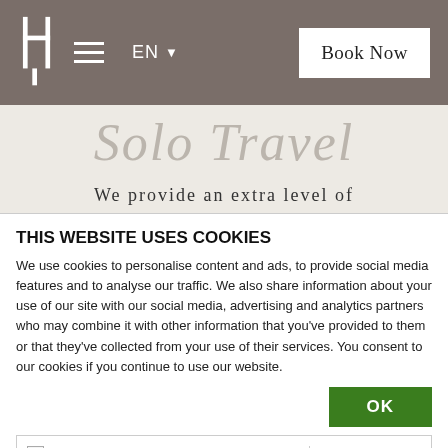LH hotel logo, hamburger menu, EN language selector, Book Now button
[Figure (illustration): Hotel website hero section with cursive 'Solo Travel' script text on beige/cream background]
We provide an extra level of security for our solo female guests
THIS WEBSITE USES COOKIES
We use cookies to personalise content and ads, to provide social media features and to analyse our traffic. We also share information about your use of our site with our social media, advertising and analytics partners who may combine it with other information that you've provided to them or that they've collected from your use of their services. You consent to our cookies if you continue to use our website.
OK
Necessary  Preferences  Statistics  Marketing  Show details